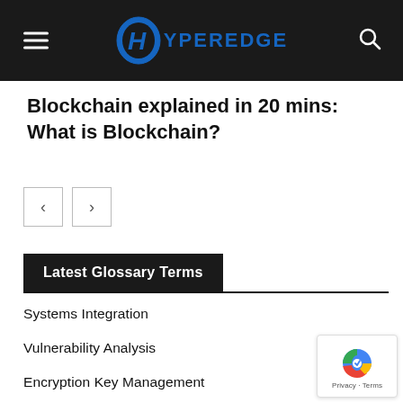HyperEdge
Blockchain explained in 20 mins: What is Blockchain?
Latest Glossary Terms
Systems Integration
Vulnerability Analysis
Encryption Key Management
Microelectronics
Communication Technology
Smart Device
Operating System Kernel